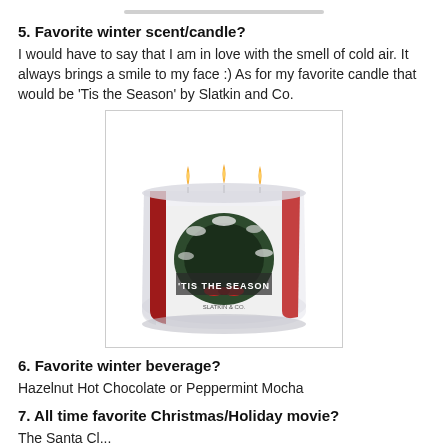5. Favorite winter scent/candle?
I would have to say that I am in love with the smell of cold air. It always brings a smile to my face :) As for my favorite candle that would be 'Tis the Season' by Slatkin and Co.
[Figure (photo): A three-wick red candle in a glass jar with a white label showing a Christmas wreath and the text 'TIS THE SEASON' by Slatkin & Co.]
6. Favorite winter beverage?
Hazelnut Hot Chocolate or Peppermint Mocha
7. All time favorite Christmas/Holiday movie?
The Santa Cl...